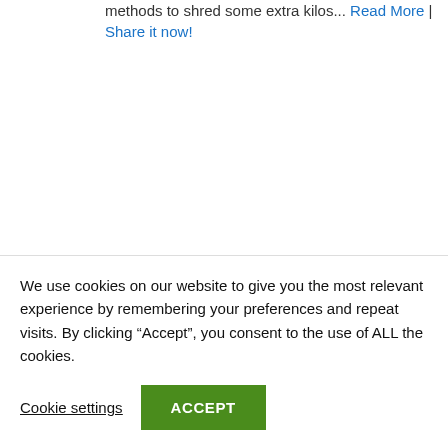methods to shred some extra kilos... Read More | Share it now!
We use cookies on our website to give you the most relevant experience by remembering your preferences and repeat visits. By clicking “Accept”, you consent to the use of ALL the cookies.
Cookie settings | ACCEPT